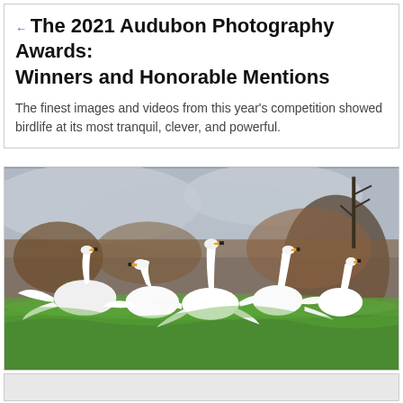← The 2021 Audubon Photography Awards: Winners and Honorable Mentions
The finest images and videos from this year's competition showed birdlife at its most tranquil, clever, and powerful.
[Figure (photo): A group of white swans with wings spread open, standing on green grass with a blurred brown and grey outdoor background.]